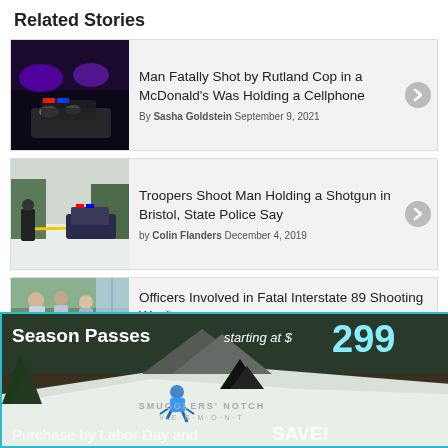Related Stories
Man Fatally Shot by Rutland Cop in a McDonald's Was Holding a Cellphone
By Sasha Goldstein September 9, 2021
Troopers Shoot Man Holding a Shotgun in Bristol, State Police Say
by Colin Flanders December 4, 2019
Officers Involved in Fatal Interstate 89 Shooting Won't
[Figure (photo): Advertisement banner for Smugglers' Notch Vermont ski resort: Season Passes starting at $299. Purchase by Labor Day and SAVE!]